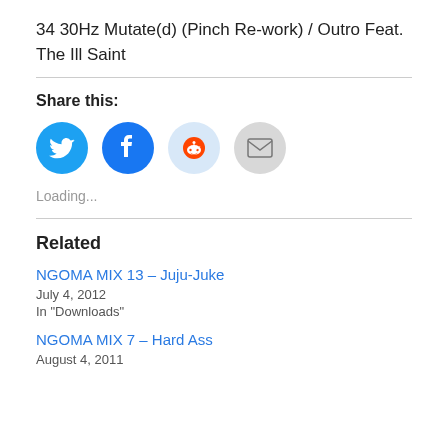34 30Hz Mutate(d) (Pinch Re-work) / Outro Feat. The Ill Saint
Share this:
[Figure (illustration): Four social sharing icon buttons: Twitter (blue circle with bird), Facebook (blue circle with f), Reddit (light blue circle with alien mascot), Email (grey circle with envelope)]
Loading...
Related
NGOMA MIX 13 – Juju-Juke
July 4, 2012
In "Downloads"
NGOMA MIX 7 – Hard Ass
August 4, 2011